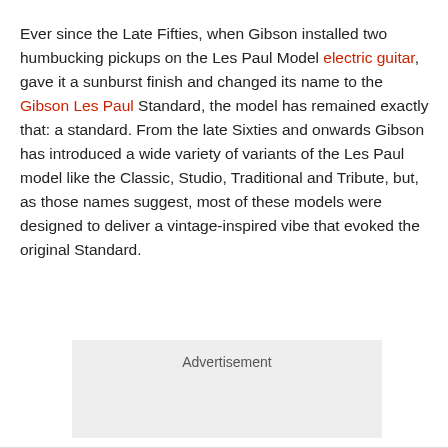Ever since the Late Fifties, when Gibson installed two humbucking pickups on the Les Paul Model electric guitar, gave it a sunburst finish and changed its name to the Gibson Les Paul Standard, the model has remained exactly that: a standard. From the late Sixties and onwards Gibson has introduced a wide variety of variants of the Les Paul model like the Classic, Studio, Traditional and Tribute, but, as those names suggest, most of these models were designed to deliver a vintage-inspired vibe that evoked the original Standard.
[Figure (other): Advertisement placeholder box with light gray background]